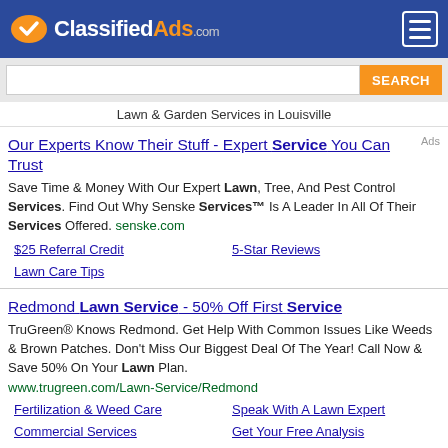ClassifiedAds.com
Lawn & Garden Services in Louisville
Our Experts Know Their Stuff - Expert Service You Can Trust
Save Time & Money With Our Expert Lawn, Tree, And Pest Control Services. Find Out Why Senske Services™ Is A Leader In All Of Their Services Offered. senske.com
$25 Referral Credit | 5-Star Reviews | Lawn Care Tips
Redmond Lawn Service - 50% Off First Service
TruGreen® Knows Redmond. Get Help With Common Issues Like Weeds & Brown Patches. Don't Miss Our Biggest Deal Of The Year! Call Now & Save 50% On Your Lawn Plan.
www.trugreen.com/Lawn-Service/Redmond
Fertilization & Weed Care | Speak With A Lawn Expert | Commercial Services | Get Your Free Analysis
Landscape Services - Quality Landscape Services
Full Service Landscape Services. Call Now & Get Your Free Estimate! Landscaping, Pavers & Stone